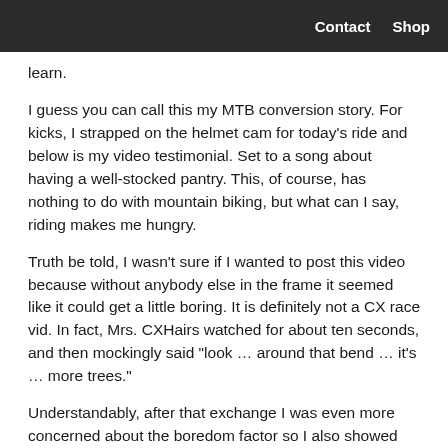Contact  Shop
learn.
I guess you can call this my MTB conversion story. For kicks, I strapped on the helmet cam for today's ride and below is my video testimonial. Set to a song about having a well-stocked pantry. This, of course, has nothing to do with mountain biking, but what can I say, riding makes me hungry.
Truth be told, I wasn't sure if I wanted to post this video because without anybody else in the frame it seemed like it could get a little boring. It is definitely not a CX race vid. In fact, Mrs. CXHairs watched for about ten seconds, and then mockingly said “look … around that bend … it’s … more trees.”
Understandably, after that exchange I was even more concerned about the boredom factor so I also showed the video to Jim, The Unholy Roleur, a lifelong MTB guy. He liked it and thought it would be interesting for all the fat tire folk.